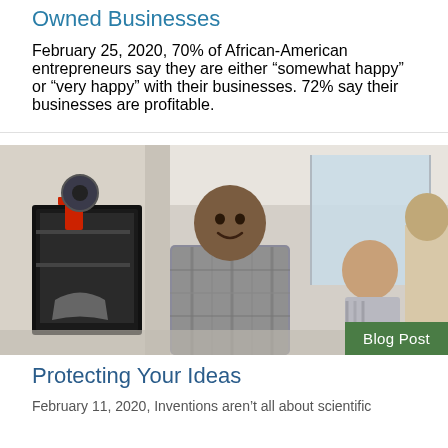Owned Businesses
February 25, 2020, 70% of African-American entrepreneurs say they are either “somewhat happy” or “very happy” with their businesses. 72% say their businesses are profitable.
[Figure (photo): Photo of a smiling man in a plaid shirt working near a 3D printer in an office setting, with two other people in the background]
Protecting Your Ideas
February 11, 2020, Inventions aren’t all about scientific